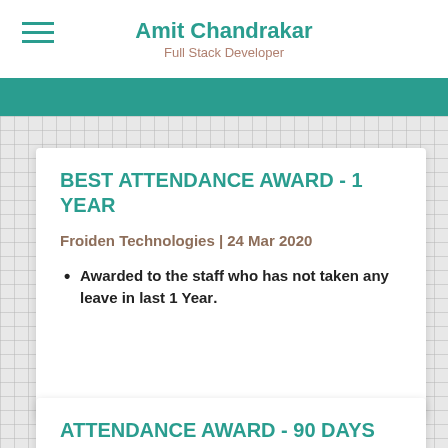Amit Chandrakar
Full Stack Developer
BEST ATTENDANCE AWARD - 1 YEAR
Froiden Technologies | 24 Mar 2020
Awarded to the staff who has not taken any leave in last 1 Year.
ATTENDANCE AWARD - 90 DAYS